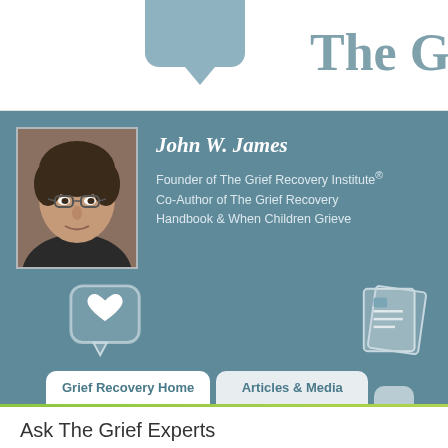[Figure (illustration): Top area with partial speech bubble icon and partial header text on white background]
[Figure (photo): Headshot photo of John W. James, a middle-aged man with dark hair and glasses, wearing a dark shirt]
John W. James
Founder of The Grief Recovery Institute® Co-Author of The Grief Recovery Handbook & When Children Grieve
[Figure (illustration): Heart speech bubble icon and document/article icon on blue background]
Grief Recovery Home
Articles & Media
Ask The Grief Experts
How do I deal with losing them when there was still so 12/4/2012)